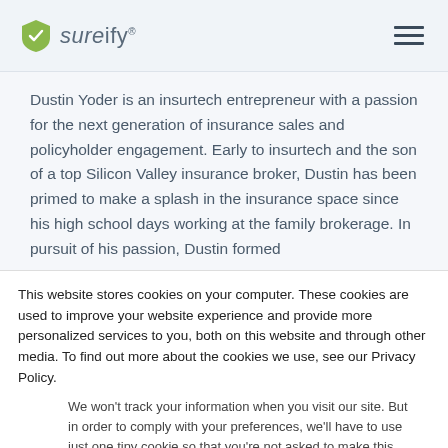sureify
Dustin Yoder is an insurtech entrepreneur with a passion for the next generation of insurance sales and policyholder engagement. Early to insurtech and the son of a top Silicon Valley insurance broker, Dustin has been primed to make a splash in the insurance space since his high school days working at the family brokerage. In pursuit of his passion, Dustin formed
This website stores cookies on your computer. These cookies are used to improve your website experience and provide more personalized services to you, both on this website and through other media. To find out more about the cookies we use, see our Privacy Policy.
We won't track your information when you visit our site. But in order to comply with your preferences, we'll have to use just one tiny cookie so that you're not asked to make this choice again.
Accept | Decline